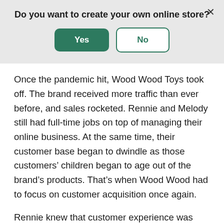Do you want to create your own online store?
[Figure (screenshot): Modal dialog with Yes and No buttons and a close X button]
Once the pandemic hit, Wood Wood Toys took off. The brand received more traffic than ever before, and sales rocketed. Rennie and Melody still had full-time jobs on top of managing their online business. At the same time, their customer base began to dwindle as those customers' children began to age out of the brand's products. That's when Wood Wood had to focus on customer acquisition once again.
Rennie knew that customer experience was one